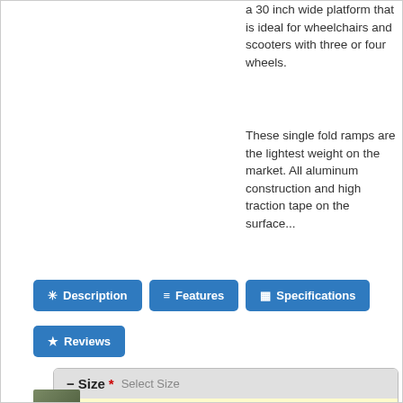a 30 inch wide platform that is ideal for wheelchairs and scooters with three or four wheels.
These single fold ramps are the lightest weight on the market. All aluminum construction and high traction tape on the surface...
Description
Features
Specifications
Reviews
Size* Select Size
[Figure (screenshot): Select Size dropdown form field on a pale yellow background]
[Figure (photo): Small thumbnail image of a ramp product]